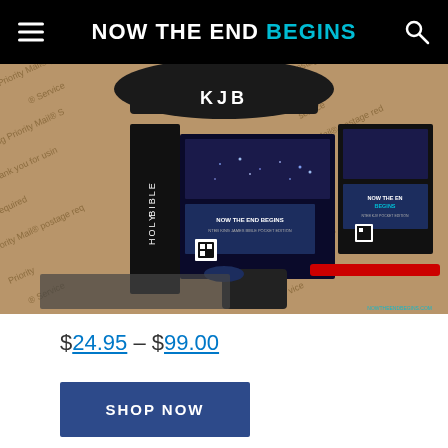NOW THE END BEGINS
[Figure (photo): Product photo showing KJB Holy Bible and Now The End Begins branded items in a Priority Mail shipping box]
$24.95 – $99.00
SHOP NOW